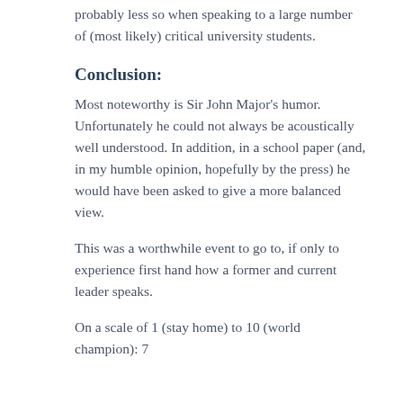probably less so when speaking to a large number of (most likely) critical university students.
Conclusion:
Most noteworthy is Sir John Major's humor. Unfortunately he could not always be acoustically well understood. In addition, in a school paper (and, in my humble opinion, hopefully by the press) he would have been asked to give a more balanced view.
This was a worthwhile event to go to, if only to experience first hand how a former and current leader speaks.
On a scale of 1 (stay home) to 10 (world champion): 7